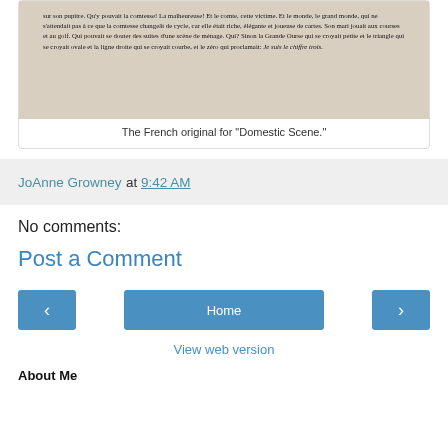[Figure (photo): Photo of a French book page showing French text of 'Domestic Scene' (Scène de ménage), with italic serif text visible in the book.]
The French original for "Domestic Scene."
JoAnne Growney at 9:42 AM
No comments:
Post a Comment
Home
View web version
About Me